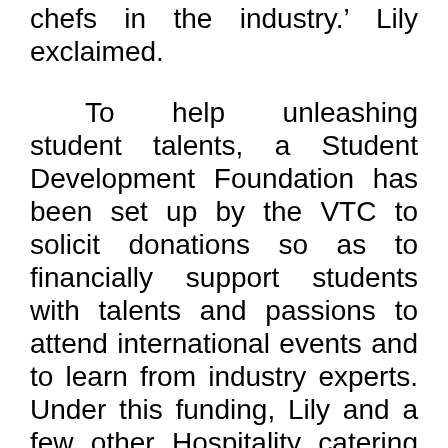chefs in the industry.' Lily exclaimed.
To help unleashing student talents, a Student Development Foundation has been set up by the VTC to solicit donations so as to financially support students with talents and passions to attend international events and to learn from industry experts. Under this funding, Lily and a few other Hospitality catering students joined the Bill Gallagher Young Chefs Forum 2014 organized by the World Association Chefs Societies in Norway. The Forum aims to foster exchanges among young chefs and allow them to learn from industry experts from all over the world.